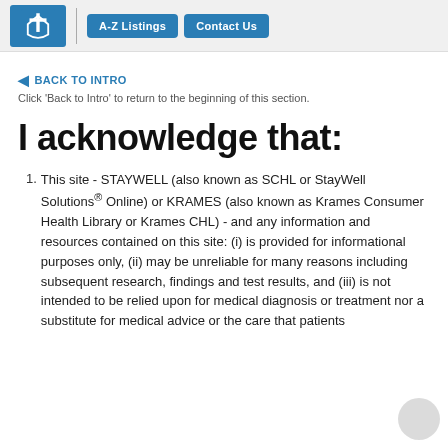A-Z Listings | Contact Us
BACK TO INTRO
Click 'Back to Intro' to return to the beginning of this section.
I acknowledge that:
This site - STAYWELL (also known as SCHL or StayWell Solutions® Online) or KRAMES (also known as Krames Consumer Health Library or Krames CHL) - and any information and resources contained on this site: (i) is provided for informational purposes only, (ii) may be unreliable for many reasons including subsequent research, findings and test results, and (iii) is not intended to be relied upon for medical diagnosis or treatment nor a substitute for medical advice or the care that patients